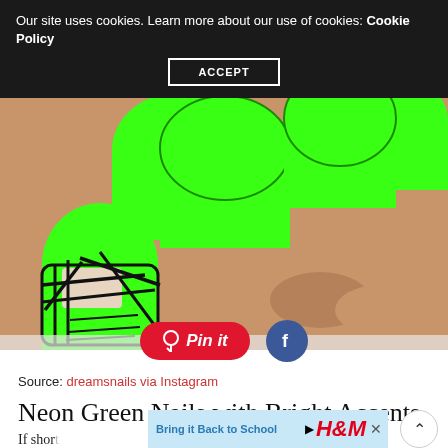Our site uses cookies. Learn more about our use of cookies: Cookie Policy
ACCEPT
[Figure (photo): Close-up photo of hand with neon green nails, one nail featuring black geometric/tribal pattern design on a nude/white base, other nails are solid bright neon green]
Pin it
Source: dreamsnails via Instagram
Neon Green Nails with Bright Accents
If shor... we feel